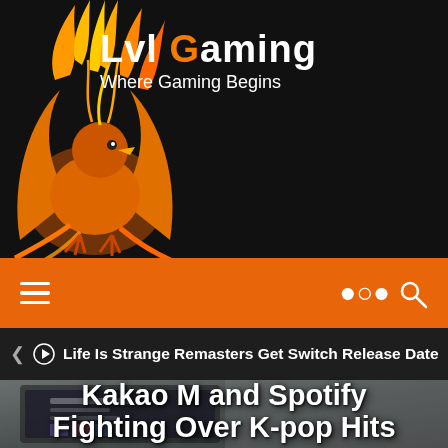[Figure (logo): Lvl Gaming logo with phoenix mascot illustration on black background, text 'Lvl Gaming' and 'Where Gaming Begins']
≡  🔍
Life Is Strange Remasters Get Switch Release Date
[Figure (photo): Laptop displaying Spotify Focus playlist interface on a desk, blurred background]
Kakao M and Spotify Fighting Over K-pop Hits